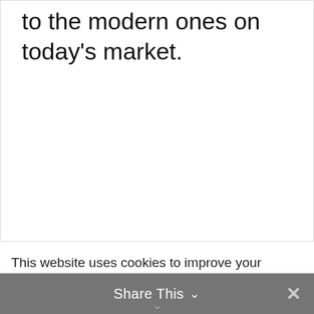to the modern ones on today's market.
This website uses cookies to improve your experience, but you
Share This ∨  ✕